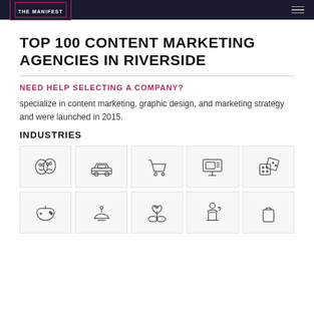THE MANIFEST
TOP 100 CONTENT MARKETING AGENCIES IN RIVERSIDE
NEED HELP SELECTING A COMPANY?
specialize in content marketing, graphic design, and marketing strategy and were launched in 2015.
INDUSTRIES
[Figure (illustration): Grid of 10 industry icons: theater masks, car, shopping cart, e-commerce screen, dice, game controller, hotel bell, plant with heart, podium speaker, shopping bag]